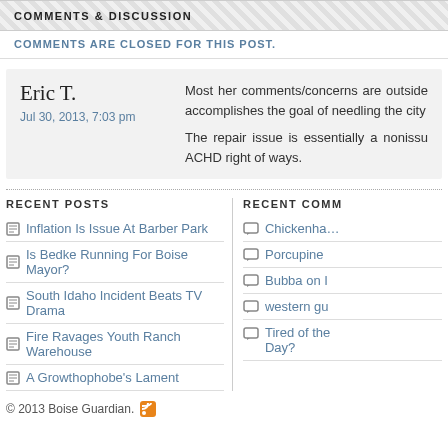COMMENTS & DISCUSSION
COMMENTS ARE CLOSED FOR THIS POST.
Eric T.
Jul 30, 2013, 7:03 pm

Most her comments/concerns are outside... accomplishes the goal of needling the city.

The repair issue is essentially a nonissu... ACHD right of ways.
RECENT POSTS
Inflation Is Issue At Barber Park
Is Bedke Running For Boise Mayor?
South Idaho Incident Beats TV Drama
Fire Ravages Youth Ranch Warehouse
A Growthophobe's Lament
RECENT COMM
Chickenha...
Porcupine
Bubba on I
western gu
Tired of the Day?
© 2013 Boise Guardian.